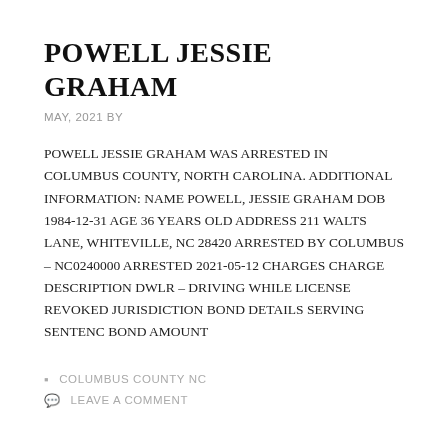POWELL JESSIE GRAHAM
MAY, 2021 BY
POWELL JESSIE GRAHAM WAS ARRESTED IN COLUMBUS COUNTY, NORTH CAROLINA. ADDITIONAL INFORMATION: NAME POWELL, JESSIE GRAHAM DOB 1984-12-31 AGE 36 YEARS OLD ADDRESS 211 WALTS LANE, WHITEVILLE, NC 28420 ARRESTED BY COLUMBUS – NC0240000 ARRESTED 2021-05-12 CHARGES CHARGE DESCRIPTION DWLR – DRIVING WHILE LICENSE REVOKED JURISDICTION BOND DETAILS SERVING SENTENC BOND AMOUNT
COLUMBUS COUNTY NC
LEAVE A COMMENT